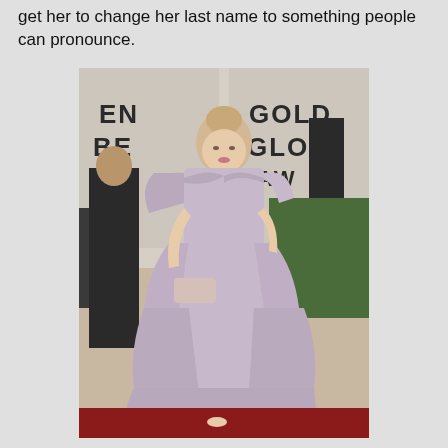get her to change her last name to something people can pronounce.
[Figure (photo): A woman in a lavender/grey ruffled off-shoulder gown on a red carpet at the Golden Globe Awards, holding a small clutch purse. A man in a suit is visible holding a Golden Globe award trophy in the background. The Golden Globe Awards signage is visible behind them.]